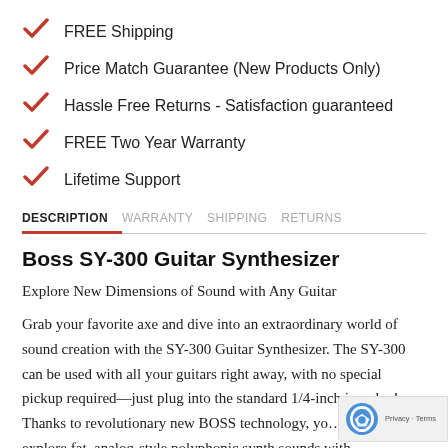FREE Shipping
Price Match Guarantee (New Products Only)
Hassle Free Returns - Satisfaction guaranteed
FREE Two Year Warranty
Lifetime Support
DESCRIPTION  WARRANTY  SHIPPING  RETURNS
Boss SY-300 Guitar Synthesizer
Explore New Dimensions of Sound with Any Guitar
Grab your favorite axe and dive into an extraordinary world of sound creation with the SY-300 Guitar Synthesizer. The SY-300 can be used with all your guitars right away, with no special pickup required—just plug into the standard 1/4-inch j… play! Thanks to revolutionary new BOSS technology, yo… able to explore fat, analog-style polyphonic synth sounds with